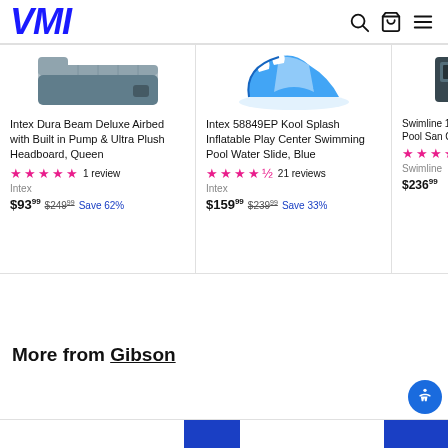VMI
[Figure (screenshot): Product card 1: Intex Dura Beam Deluxe Airbed with Built in Pump & Ultra Plush Headboard, Queen - air mattress product image]
Intex Dura Beam Deluxe Airbed with Built in Pump & Ultra Plush Headboard, Queen
★★★★★ 1 review
Intex
$93.99  $249.99  Save 62%
[Figure (screenshot): Product card 2: Intex 58849EP Kool Splash Inflatable Play Center Swimming Pool Water Slide, Blue - product image of blue inflatable water slide]
Intex 58849EP Kool Splash Inflatable Play Center Swimming Pool Water Slide, Blue
★★★★½ 21 reviews
Intex
$159.99  $239.99  Save 33%
[Figure (screenshot): Product card 3: Swimline 14-Inch Pool Sand Combo - partially visible product image]
Swimline 14-Inch Pool San Combo
★★★★
Swimline
$236.99
More from Gibson